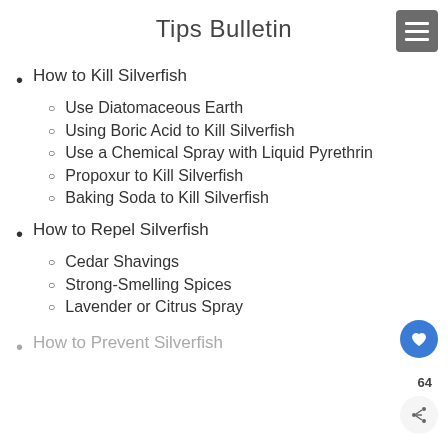Tips Bulletin
How to Kill Silverfish
Use Diatomaceous Earth
Using Boric Acid to Kill Silverfish
Use a Chemical Spray with Liquid Pyrethrin
Propoxur to Kill Silverfish
Baking Soda to Kill Silverfish
How to Repel Silverfish
Cedar Shavings
Strong-Smelling Spices
Lavender or Citrus Spray
How to Prevent Silverfish